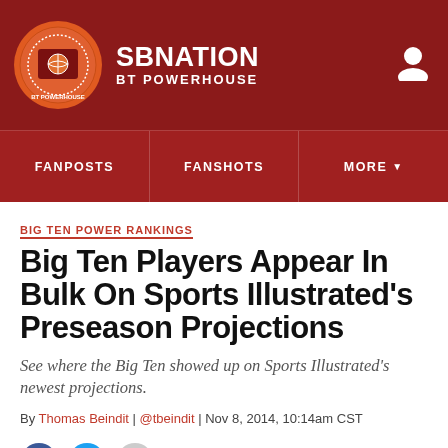SBNATION BT POWERHOUSE
FANPOSTS | FANSHOTS | MORE
BIG TEN POWER RANKINGS
Big Ten Players Appear In Bulk On Sports Illustrated's Preseason Projections
See where the Big Ten showed up on Sports Illustrated's newest projections.
By Thomas Beindit | @tbeindit | Nov 8, 2014, 10:14am CST